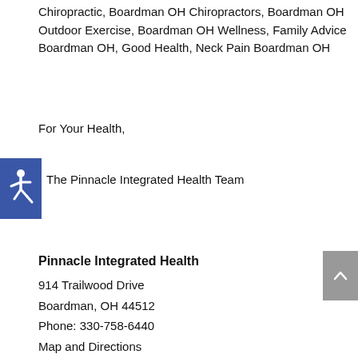Chiropractic, Boardman OH Chiropractors, Boardman OH Outdoor Exercise, Boardman OH Wellness, Family Advice Boardman OH, Good Health, Neck Pain Boardman OH
For Your Health,
[Figure (logo): Blue square with white wheelchair accessibility icon]
The Pinnacle Integrated Health Team
Pinnacle Integrated Health
914 Trailwood Drive
Boardman, OH 44512
Phone: 330-758-6440
Map and Directions